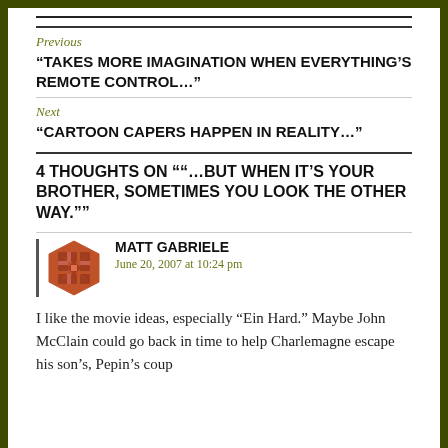Previous
“TAKES MORE IMAGINATION WHEN EVERYTHING’S REMOTE CONTROL…”
Next
“CARTOON CAPERS HAPPEN IN REALITY…”
4 THOUGHTS ON ““…BUT WHEN IT’S YOUR BROTHER, SOMETIMES YOU LOOK THE OTHER WAY.””
MATT GABRIELE
June 20, 2007 at 10:24 pm
I like the movie ideas, especially “Ein Hard.” Maybe John McClain could go back in time to help Charlemagne escape his son’s, Pepin’s coup